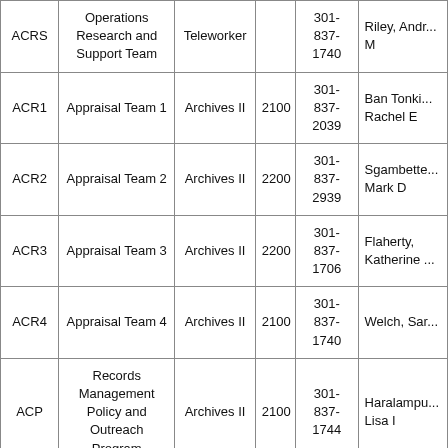| ACRS | Operations Research and Support Team | Teleworker |  | 301-837-1740 | Riley, Andr... M |
| ACR1 | Appraisal Team 1 | Archives II | 2100 | 301-837-2039 | Ban Tonki... Rachel E |
| ACR2 | Appraisal Team 2 | Archives II | 2200 | 301-837-2939 | Sgambette... Mark D |
| ACR3 | Appraisal Team 3 | Archives II | 2200 | 301-837-1706 | Flaherty, Katherine ... |
| ACR4 | Appraisal Team 4 | Archives II | 2100 | 301-837-1740 | Welch, Sar... |
| ACP | Records Management Policy and Outreach Program | Archives II | 2100 | 301-837-1744 | Haralampu... Lisa I |